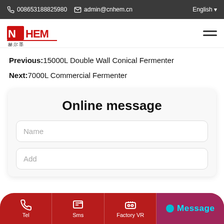008653188825980  admin@cnhem.cn  English
[Figure (logo): HEM company logo with red HEM letters and Chinese characters below]
Previous: 15000L Double Wall Conical Fermenter
Next: 7000L Commercial Fermenter
Online message
Name
Add
Tel  Sms  Factory VR  Message